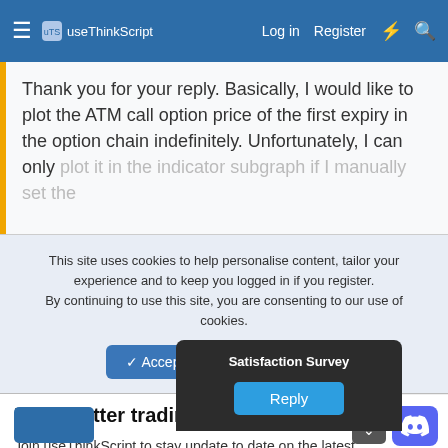useThinkScript  Log in  Register
Thank you for your reply. Basically, I would like to plot the ATM call option price of the first expiry in the option chain indefinitely. Unfortunately, I can only plot it in the indicator subgraph if I manually set the
This site uses cookies to help personalise content, tailor your experience and to keep you logged in if you register. By continuing to use this site, you are consenting to our use of cookies.
Accept  Learn more...
Make better trading decisions with less noise
Join useThinkScript to stay update to date on the latest indicators, trade strategies, and tips for thinkorswim.
Satisfaction Survey
Reply